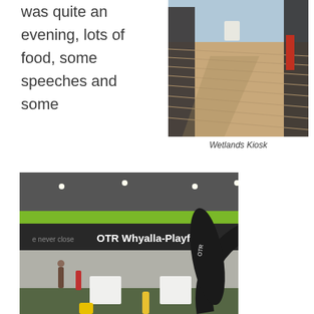was quite an evening, lots of food, some speeches and some
[Figure (photo): Outdoor wooden deck/boardwalk area of the Wetlands Kiosk, showing decking planks extending into the distance with dark structures on either side]
Wetlands Kiosk
[Figure (photo): OTR Whyalla-Playford store front with signage, people standing outside at tables with white tablecloths during an event, green facade and large windows visible]